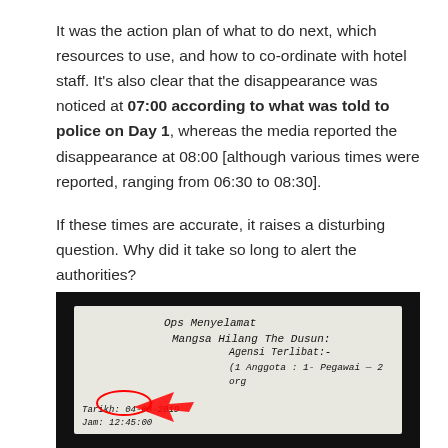It was the action plan of what to do next, which resources to use, and how to co-ordinate with hotel staff. It's also clear that the disappearance was noticed at 07:00 according to what was told to police on Day 1, whereas the media reported the disappearance at 08:00 [although various times were reported, ranging from 06:30 to 08:30].
If these times are accurate, it raises a disturbing question. Why did it take so long to alert the authorities?
[Figure (photo): Photograph of a whiteboard with handwritten Malay text. Shows 'Ops Menyelamat Mangsa Hilang The Dusun: Agensi Terlibat:-' with entries listing officers. A red arrow points to a date circled in red: 04-08-2019. The background is dark/black.]